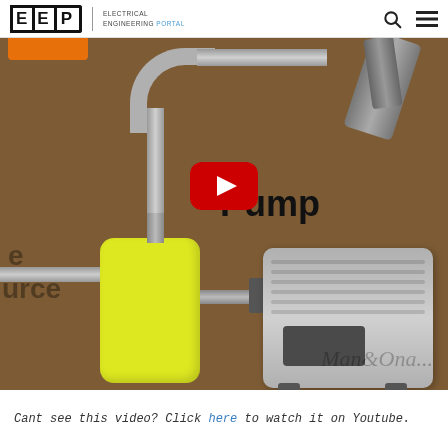EEP | ELECTRICAL ENGINEERING PORTAL
[Figure (screenshot): Video thumbnail showing an animation of a hydraulic pump system with yellow tank/filter, gray motor unit, pipes, and a YouTube play button overlay. Text 'Pump' visible in the scene.]
Cant see this video? Click here to watch it on Youtube.